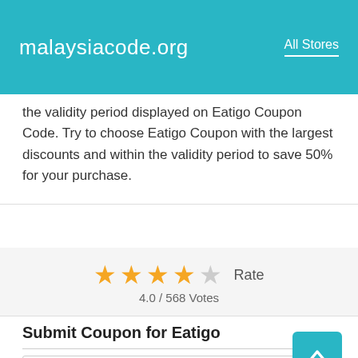malaysiacode.org   All Stores
the validity period displayed on Eatigo Coupon Code. Try to choose Eatigo Coupon with the largest discounts and within the validity period to save 50% for your purchase.
[Figure (other): Star rating display showing 4 out of 5 stars with text 'Rate' and '4.0 / 568 Votes']
Submit Coupon for Eatigo
eatigo.com
Coupon Title